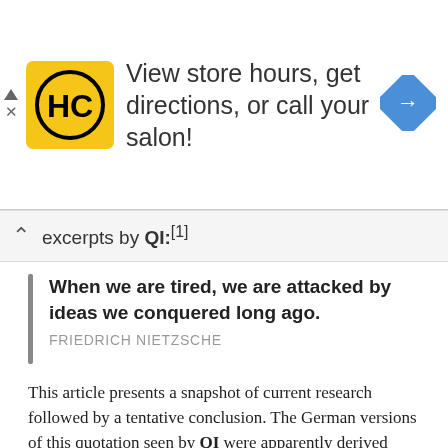[Figure (infographic): Advertisement banner: HC logo in yellow square, text 'View store hours, get directions, or call your salon!', blue diamond navigation icon on the right.]
excerpts by QI:[1]
When we are tired, we are attacked by ideas we conquered long ago. FRIEDRICH NIETZSCHE
This article presents a snapshot of current research followed by a tentative conclusion. The German versions of this quotation seen by QI were apparently derived from the English statement, and QI has been unable to find earlier matches using German instances.
Below are additional selected citations in